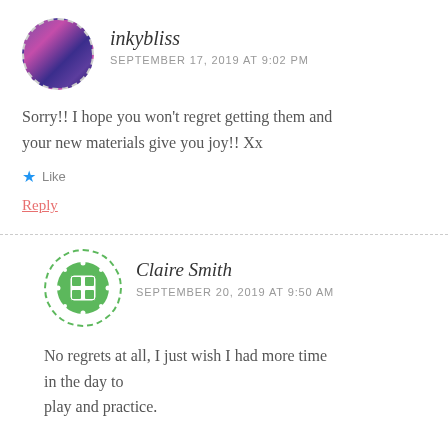inkybliss
SEPTEMBER 17, 2019 AT 9:02 PM
Sorry!! I hope you won’t regret getting them and your new materials give you joy!! Xx
Like
Reply
Claire Smith
SEPTEMBER 20, 2019 AT 9:50 AM
No regrets at all, I just wish I had more time in the day to play and practice.